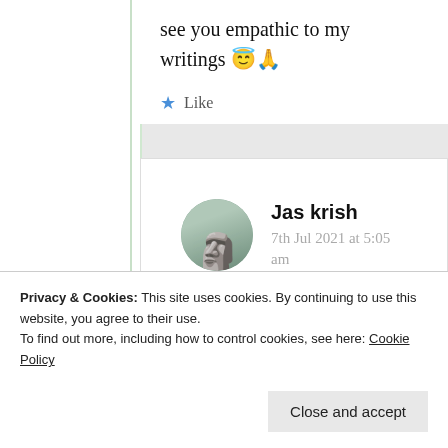see you empathic to my writings 😇🙏
★ Like
Jas krish
7th Jul 2021 at 5:05 am
Thank you Suma…Yes,
Privacy & Cookies: This site uses cookies. By continuing to use this website, you agree to their use. To find out more, including how to control cookies, see here: Cookie Policy
Close and accept